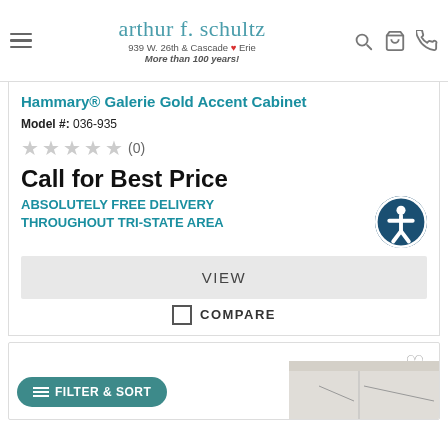arthur f. schultz — 939 W. 26th & Cascade Erie — More than 100 years!
Hammary® Galerie Gold Accent Cabinet
Model #: 036-935
★★★★★ (0)
Call for Best Price
ABSOLUTELY FREE DELIVERY THROUGHOUT TRI-STATE AREA
VIEW
COMPARE
[Figure (screenshot): Bottom portion of a second product card with a furniture image visible at bottom and a FILTER & SORT button overlay]